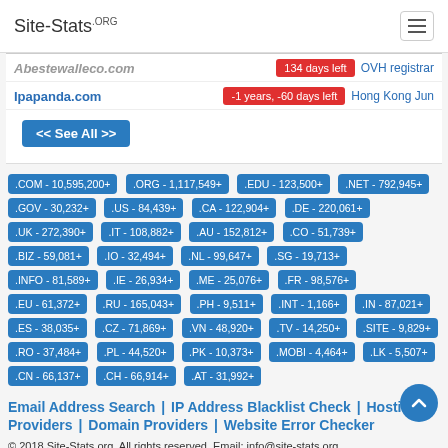Site-Stats.ORG
| Domain | Status | Registrar |
| --- | --- | --- |
| Abestewalleco.com | 134 days left | OVH registrar |
| Ipapanda.com | -1 years, -60 days left | Hong Kong Jun |
<< See All >>
.COM - 10,595,200+
.ORG - 1,117,549+
.EDU - 123,500+
.NET - 792,945+
.GOV - 30,232+
.US - 84,439+
.CA - 122,904+
.DE - 220,061+
.UK - 272,390+
.IT - 108,882+
.AU - 152,812+
.CO - 51,739+
.BIZ - 59,081+
.IO - 32,494+
.NL - 99,647+
.SG - 19,713+
.INFO - 81,589+
.IE - 26,934+
.ME - 25,076+
.FR - 98,576+
.EU - 61,372+
.RU - 165,043+
.PH - 9,511+
.INT - 1,166+
.IN - 87,021+
.ES - 38,035+
.CZ - 71,869+
.VN - 48,920+
.TV - 14,250+
.SITE - 9,829+
.RO - 37,484+
.PL - 44,520+
.PK - 10,373+
.MOBI - 4,464+
.LK - 5,507+
.CN - 66,137+
.CH - 66,914+
.AT - 31,992+
Email Address Search | IP Address Blacklist Check | Hosting Providers | Domain Providers | Website Error Checker
© 2018 Site-Stats.org. All rights reserved. Email: info@site-stats.org